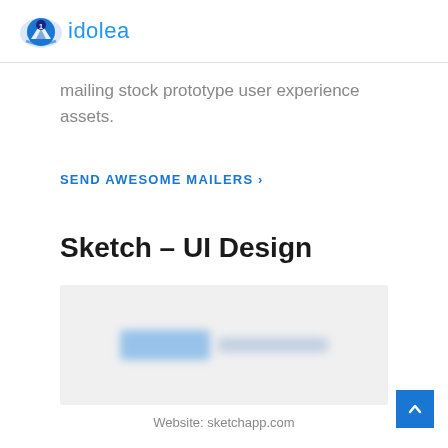idolea
mailing stock prototype user experience assets.
SEND AWESOME MAILERS ›
Sketch – UI Design
[Figure (screenshot): Blurred screenshot of Sketch app UI on a light gray background]
Website: sketchapp.com